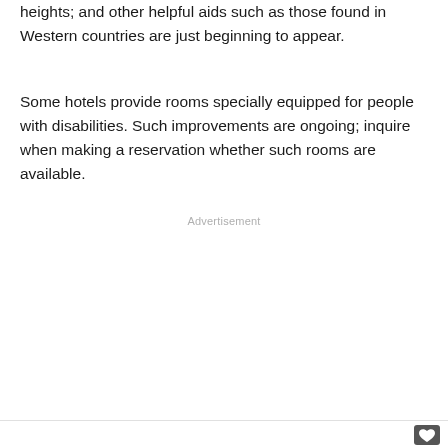heights; and other helpful aids such as those found in Western countries are just beginning to appear.
Some hotels provide rooms specially equipped for people with disabilities. Such improvements are ongoing; inquire when making a reservation whether such rooms are available.
Advertisement